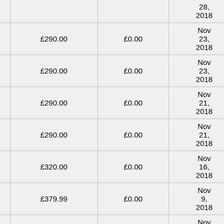| Retailer | Price | Delivery | Date | Total |
| --- | --- | --- | --- | --- |
|  |  |  | Nov 28, 2018 |  |
| Currys | £290.00 | £0.00 | Nov 23, 2018 | £290.00 |
| Currys | £290.00 | £0.00 | Nov 23, 2018 | £290.00 |
| Currys | £290.00 | £0.00 | Nov 21, 2018 | £290.00 |
| Currys | £290.00 | £0.00 | Nov 21, 2018 | £290.00 |
| Currys | £320.00 | £0.00 | Nov 16, 2018 | £320.00 |
| Currys | £379.99 | £0.00 | Nov 9, 2018 | £379.99 |
| Currys | £399.00 | £0.00 | Nov 8, 2018 | £399.00 |
| Currys | £380.00 | £0.00 | Oct 23, 2018 | £380.00 |
| Currys | £409.00 | £0.00 | Oct 20, 2018 | £409.00 |
| Currys | £379.00 | £0.00 | Oct 17, 2018 | £379.00 |
| Currys | £389.99 | £0.00 | Sep 28, | £389.99 |